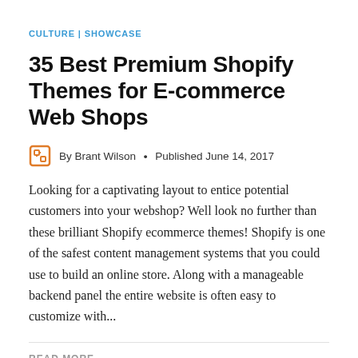CULTURE | SHOWCASE
35 Best Premium Shopify Themes for E-commerce Web Shops
By Brant Wilson • Published June 14, 2017
Looking for a captivating layout to entice potential customers into your webshop? Well look no further than these brilliant Shopify ecommerce themes! Shopify is one of the safest content management systems that you could use to build an online store. Along with a manageable backend panel the entire website is often easy to customize with...
READ MORE →